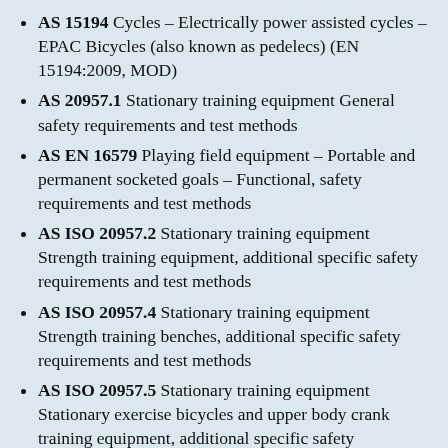AS 15194 Cycles – Electrically power assisted cycles – EPAC Bicycles (also known as pedelecs) (EN 15194:2009, MOD)
AS 20957.1 Stationary training equipment General safety requirements and test methods
AS EN 16579 Playing field equipment – Portable and permanent socketed goals – Functional, safety requirements and test methods
AS ISO 20957.2 Stationary training equipment Strength training equipment, additional specific safety requirements and test methods
AS ISO 20957.4 Stationary training equipment Strength training benches, additional specific safety requirements and test methods
AS ISO 20957.5 Stationary training equipment Stationary exercise bicycles and upper body crank training equipment, additional specific safety requirements and test methods